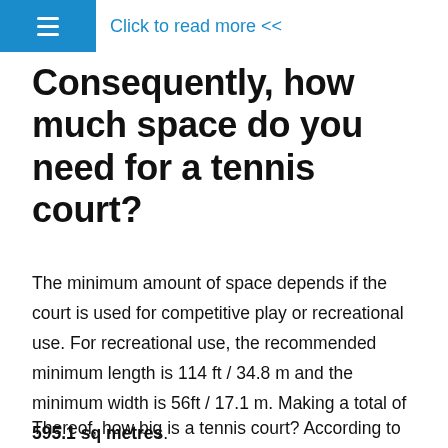≡  Click to read more <<
Consequently, how much space do you need for a tennis court?
The minimum amount of space depends if the court is used for competitive play or recreational use. For recreational use, the recommended minimum length is 114 ft / 34.8 m and the minimum width is 56ft / 17.1 m. Making a total of 595.1 sq metres.
Thereof, how big is a tennis court? According to the